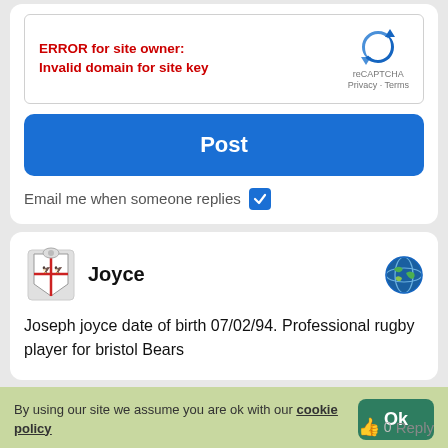[Figure (screenshot): reCAPTCHA error box with Google reCAPTCHA logo showing 'ERROR for site owner: Invalid domain for site key']
ERROR for site owner:
Invalid domain for site key
Post
Email me when someone replies
Joyce
Joseph joyce date of birth 07/02/94. Professional rugby player for bristol Bears
By using our site we assume you are ok with our cookie policy
Ok